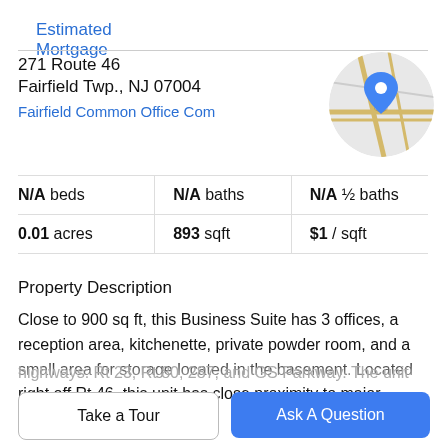Estimated Mortgage
271 Route 46
Fairfield Twp., NJ 07004
Fairfield Common Office Com
[Figure (map): Circular map thumbnail showing street map with a blue location pin marker]
| N/A beds | N/A baths | N/A ½ baths |
| 0.01 acres | 893 sqft | $1 / sqft |
Property Description
Close to 900 sq ft, this Business Suite has 3 offices, a reception area, kitchenette, private powder room, and a small area for storage located in the basement. Located right off Rt 46, this unit has close proximity to major highways: Rt 23, Rt 80, 287, and GS Parkway. The unit
Take a Tour
Ask A Question